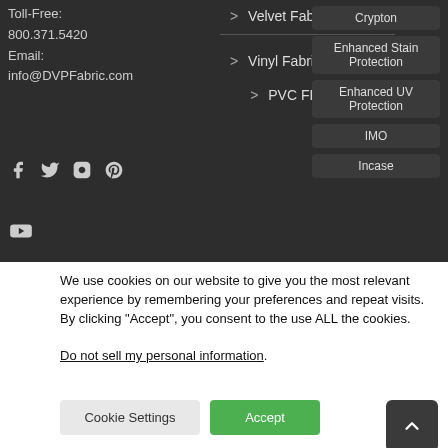Toll-Free:
800.371.5420
Email:
info@DVPFabric.com
> Velvet Fabric (155)
> Vinyl Fabrics (2038)
> PVC FREE (130)
Crypton
Enhanced Stain Protection
Enhanced UV Protection
IMO
Incase
[Figure (infographic): Social media icons: Facebook, Twitter, Instagram, Pinterest, YouTube]
We use cookies on our website to give you the most relevant experience by remembering your preferences and repeat visits. By clicking “Accept”, you consent to the use ALL the cookies.
Do not sell my personal information.
Cookie Settings
Accept
QUOTE REQUEST